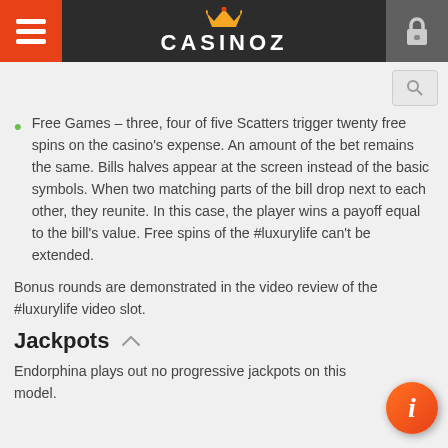CASINOZ
Free Games – three, four of five Scatters trigger twenty free spins on the casino's expense. An amount of the bet remains the same. Bills halves appear at the screen instead of the basic symbols. When two matching parts of the bill drop next to each other, they reunite. In this case, the player wins a payoff equal to the bill's value. Free spins of the #luxurylife can't be extended.
Bonus rounds are demonstrated in the video review of the #luxurylife video slot.
Jackpots
Endorphina plays out no progressive jackpots on this model.